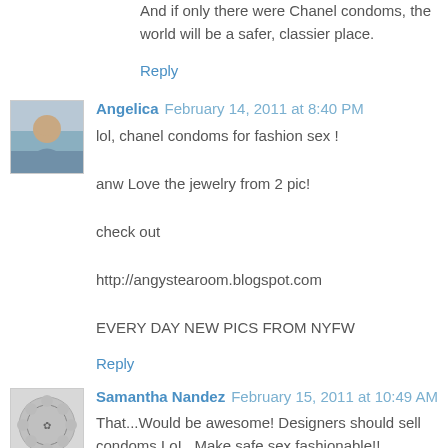And if only there were Chanel condoms, the world will be a safer, classier place.
Reply
Angelica  February 14, 2011 at 8:40 PM
lol, chanel condoms for fashion sex !

anw Love the jewelry from 2 pic!

check out

http://angystearoom.blogspot.com

EVERY DAY NEW PICS FROM NYFW
Reply
Samantha Nandez  February 15, 2011 at 10:49 AM
That...Would be awesome! Designers should sell condoms LoL. Make safe sex fashionable!!